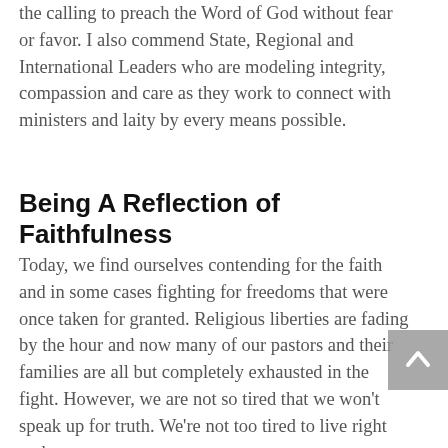the calling to preach the Word of God without fear or favor. I also commend State, Regional and International Leaders who are modeling integrity, compassion and care as they work to connect with ministers and laity by every means possible.
Being A Reflection of Faithfulness
Today, we find ourselves contending for the faith and in some cases fighting for freedoms that were once taken for granted. Religious liberties are fading by the hour and now many of our pastors and their families are all but completely exhausted in the fight. However, we are not so tired that we won't speak up for truth. We're not too tired to live right and